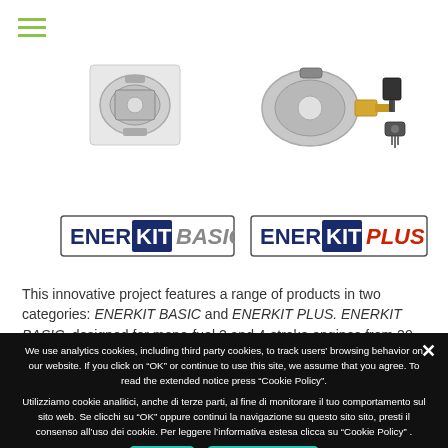[Figure (photo): Product photos: ENERKIT BASIC component (silver metal device) on the left, ENERKIT PLUS components (regulator and accessories) on the right]
[Figure (logo): ENERKIT BASIC logo — ENER in dark blue bold, KIT in green bold rectangle, BASIC in gray italic]
[Figure (logo): ENERKIT PLUS logo — ENER in dark blue bold, KIT in green bold rectangle, PLUS in red italic]
This innovative project features a range of products in two categories: ENERKIT BASIC and ENERKIT PLUS.  ENERKIT BASIC, designed for mono-fuel 2 and 4-stroke engines from 20
We use analytics cookies, including third party cookies, to track users' browsing behavior on our website. If you click on “OK” or continue to use this site, we assume that you agree. To read the extended notice press “Cookie Policy”.
Utilizziamo cookie analitici, anche di terze parti, al fine di monitorare il tuo comportamento sul sito web. Se clicchi su “OK” oppure continui la navigazione su questo sito sito, presti il consenso all’uso dei cookie. Per leggere l’informativa estesa clicca su “Cookie Policy” .